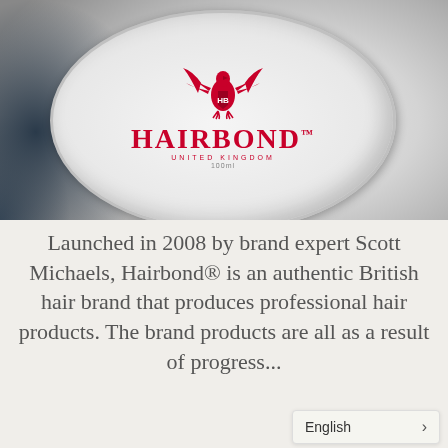[Figure (photo): Close-up photo of a white circular Hairbond product tin lid with a red eagle crest logo and the brand name HAIRBOND UNITED KINGDOM 100ml printed in red on a white surface, set against a dark background.]
Launched in 2008 by brand expert Scott Michaels, Hairbond® is an authentic British hair brand that produces professional hair products. The brand products are all as a result of progress...